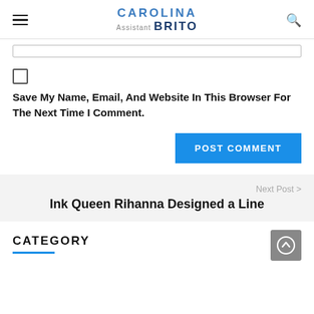CAROLINA Assistant Director BRITO
Save My Name, Email, And Website In This Browser For The Next Time I Comment.
POST COMMENT
Next Post > Ink Queen Rihanna Designed a Line
CATEGORY